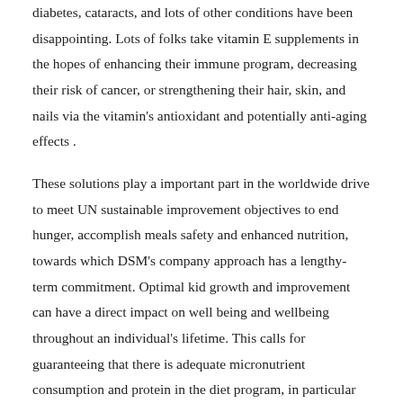diabetes, cataracts, and lots of other conditions have been disappointing. Lots of folks take vitamin E supplements in the hopes of enhancing their immune program, decreasing their risk of cancer, or strengthening their hair, skin, and nails via the vitamin's antioxidant and potentially anti-aging effects .
These solutions play a important part in the worldwide drive to meet UN sustainable improvement objectives to end hunger, accomplish meals safety and enhanced nutrition, towards which DSM's company approach has a lengthy-term commitment. Optimal kid growth and improvement can have a direct impact on well being and wellbeing throughout an individual's lifetime. This calls for guaranteeing that there is adequate micronutrient consumption and protein in the diet program, in particular for the duration of crucial life stages such as pregnancy, lactation, infancy and adolescence.